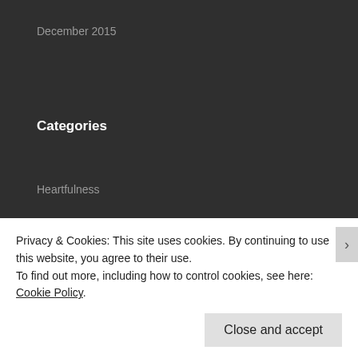December 2015
Categories
Heartfulness
Meta
Register
Log in
Privacy & Cookies: This site uses cookies. By continuing to use this website, you agree to their use.
To find out more, including how to control cookies, see here: Cookie Policy.
Close and accept